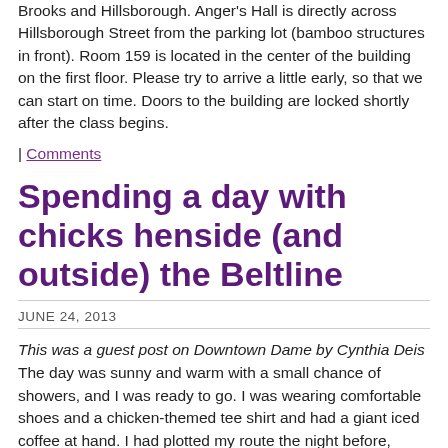Brooks and Hillsborough. Anger's Hall is directly across Hillsborough Street from the parking lot (bamboo structures in front). Room 159 is located in the center of the building on the first floor. Please try to arrive a little early, so that we can start on time. Doors to the building are locked shortly after the class begins.
| Comments
Spending a day with chicks henside (and outside) the Beltline
JUNE 24, 2013
This was a guest post on Downtown Dame by Cynthia Deis The day was sunny and warm with a small chance of showers, and I was ready to go. I was wearing comfortable shoes and a chicken-themed tee shirt and had a giant iced coffee at hand. I had plotted my route the night before, ambitiously hoping to get to 10 of the 23 locations. The Tour D'Coop was here! As a chicken-keeper, I have been both a tour stop and a tourist on the Coop Tour. Both sides of the coin offer their pleasures. When our coop is on the tour, I have the 'excuse' of preparing for the visitors. I can justify very long hours in the garden and fuss over the state